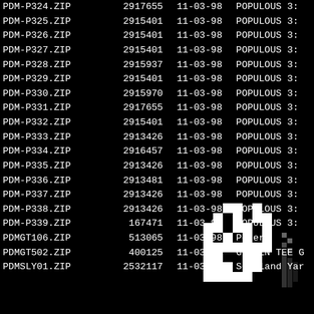| Filename | Size | Date | Description |
| --- | --- | --- | --- |
| PDM-P324.ZIP | 2917655 | 11-03-98 | POPULOUS 3: |
| PDM-P325.ZIP | 2915401 | 11-03-98 | POPULOUS 3: |
| PDM-P326.ZIP | 2915401 | 11-03-98 | POPULOUS 3: |
| PDM-P327.ZIP | 2915401 | 11-03-98 | POPULOUS 3: |
| PDM-P328.ZIP | 2915937 | 11-03-98 | POPULOUS 3: |
| PDM-P329.ZIP | 2915401 | 11-03-98 | POPULOUS 3: |
| PDM-P330.ZIP | 2915970 | 11-03-98 | POPULOUS 3: |
| PDM-P331.ZIP | 2917655 | 11-03-98 | POPULOUS 3: |
| PDM-P332.ZIP | 2915401 | 11-03-98 | POPULOUS 3: |
| PDM-P333.ZIP | 2913426 | 11-03-98 | POPULOUS 3: |
| PDM-P334.ZIP | 2916457 | 11-03-98 | POPULOUS 3: |
| PDM-P335.ZIP | 2913426 | 11-03-98 | POPULOUS 3: |
| PDM-P336.ZIP | 2913481 | 11-03-98 | POPULOUS 3: |
| PDM-P337.ZIP | 2913426 | 11-03-98 | POPULOUS 3: |
| PDM-P338.ZIP | 2913426 | 11-03-98 | POPULOUS 3: |
| PDM-P339.ZIP | 167471 | 11-03-98 | POPULOUS 3: |
| PDMGT106.ZIP | 513065 | 11-03-98 | Peter |
| PDMGT502.ZIP | 400125 | 11-03-98 | GOLDEN TEE G |
| PDMSLY01.ZIP | 2532117 | 11-03-98 | Scotland Yar |
[Figure (illustration): Pixel art illustration of a figure/character on black background, bottom right corner]